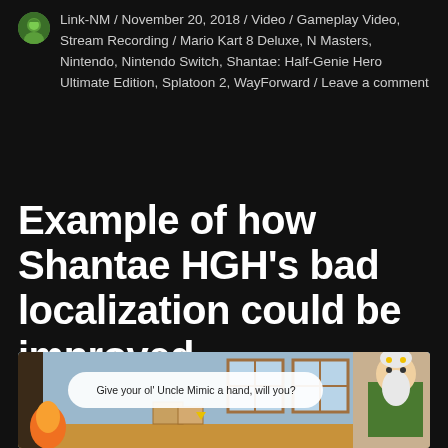Link-NM / November 20, 2018 / Video / Gameplay Video, Stream Recording / Mario Kart 8 Deluxe, N Masters, Nintendo, Nintendo Switch, Shantae: Half-Genie Hero Ultimate Edition, Splatoon 2, WayForward / Leave a comment
Example of how Shantae HGH's bad localization could be improved
[Figure (screenshot): Screenshot from Shantae Half-Genie Hero game showing an elderly character with white beard in green outfit, with a dialogue bubble reading 'Give your ol' Uncle Mimic a hand, will you?']